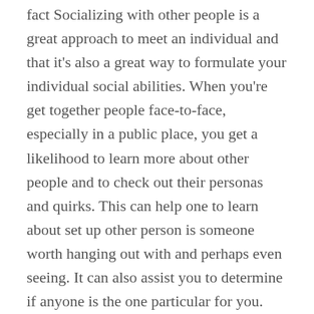fact Socializing with other people is a great approach to meet an individual and that it's also a great way to formulate your individual social abilities. When you're get together people face-to-face, especially in a public place, you get a likelihood to learn more about other people and to check out their personas and quirks. This can help one to learn about set up other person is someone worth hanging out with and perhaps even seeing. It can also assist you to determine if anyone is the one particular for you.
Another thing that I recommend is that you avoid the prevalent pitfall of using speed dating services. Many folks who use swiftness dating services possess told me that they were frequently too ambitious or had been too quick to say hey there or so long. Someone said that they weren't very great at building